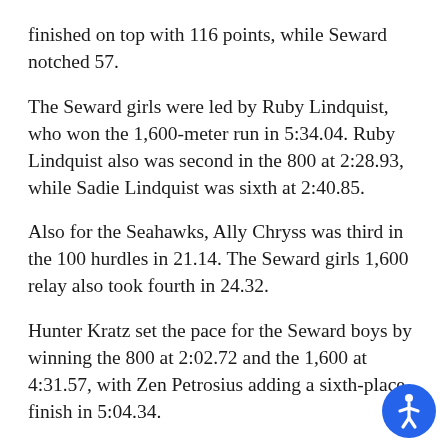finished on top with 116 points, while Seward notched 57.
The Seward girls were led by Ruby Lindquist, who won the 1,600-meter run in 5:34.04. Ruby Lindquist also was second in the 800 at 2:28.93, while Sadie Lindquist was sixth at 2:40.85.
Also for the Seahawks, Ally Chryss was third in the 100 hurdles in 21.14. The Seward girls 1,600 relay also took fourth in 24.32.
Hunter Kratz set the pace for the Seward boys by winning the 800 at 2:02.72 and the 1,600 at 4:31.57, with Zen Petrosius adding a sixth-place finish in 5:04.34.
Rhett Sieverts also had a solid day, taking second in